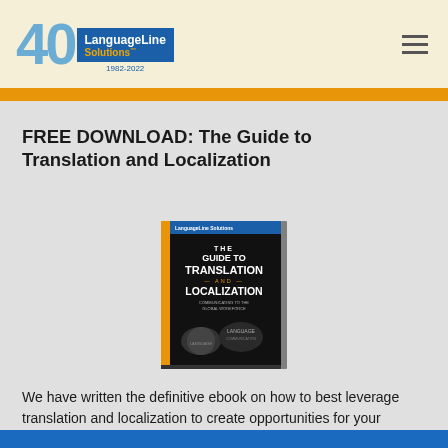[Figure (logo): LanguageLine Solutions 40th anniversary logo (1982-2022) in blue and gold]
FREE DOWNLOAD: The Guide to Translation and Localization
[Figure (photo): Book cover of 'The Guide to Translation and Localization' with dark background and orange spine]
We have written the definitive ebook on how to best leverage translation and localization to create opportunities for your organization.